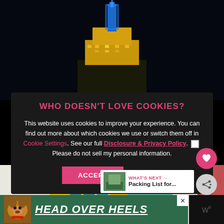[Figure (photo): Empire State Building lit up at night with blue top and yellow-gold lower levels against a dark sky]
WHO DOESN'T LOVE COOKIES?
This website uses cookies to improve your experience. You can find out more about which cookies we use or switch them off in Cookie Settings. See our full Disclosure & Privacy Policy. Please do not sell my personal information.
ACCEPT
Decline
[Figure (photo): Colorful building facades with yellow, teal, white and pink colors]
WHAT'S NEXT → Packing List for...
[Figure (photo): Advertisement banner: dog image with HEAD OVER HEELS text on green background]